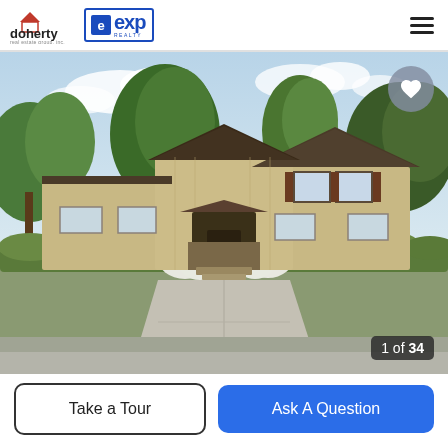[Figure (logo): Doherty real estate group logo and eXp Realty logo in header]
[Figure (photo): Exterior photo of a two-story tan/beige residential townhome with brown shutters, covered entry, surrounded by mature trees, green shrubs, and white flowering plants. Concrete driveway in foreground. Image counter shows 1 of 34. Heart/favorite button in top right corner.]
1 of 34
Take a Tour
Ask A Question